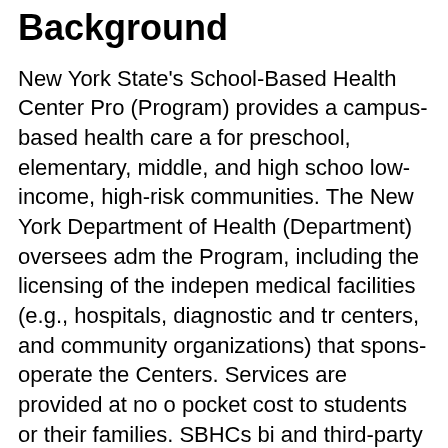Background
New York State's School-Based Health Center Program (Program) provides a campus-based health care alternative for preschool, elementary, middle, and high school students in low-income, high-risk communities. The New York State Department of Health (Department) oversees administration of the Program, including the licensing of the independent medical facilities (e.g., hospitals, diagnostic and treatment centers, and community organizations) that sponsor and operate the Centers. Services are provided at no out-of-pocket cost to students or their families. SHBCs bill Medicaid and third-party insurance for reimbursement, as applicable.
All SBHCs must provide, on-site, a core of age-appropriate primary care services that comply in content and frequency with New York State's Child/Teen Health Plan. A multidisciplinary team of medical professionals is a...